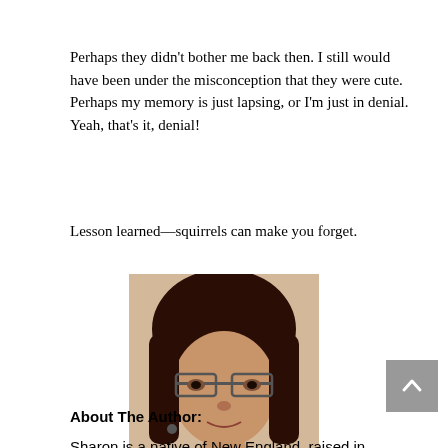Perhaps they didn't bother me back then. I still would have been under the misconception that they were cute. Perhaps my memory is just lapsing, or I'm just in denial. Yeah, that's it, denial!
Lesson learned—squirrels can make you forget.
[Figure (photo): Portrait photo of a woman with dark hair and bangs, wearing glasses, smiling slightly.]
About The Author:
Sharon is a native of New England, raised in Northern Maine. She